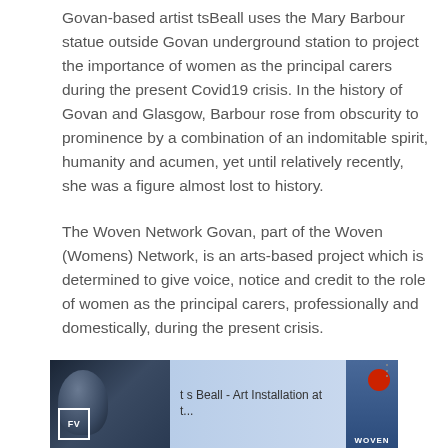Govan-based artist tsBeall uses the Mary Barbour statue outside Govan underground station to project the importance of women as the principal carers during the present Covid19 crisis. In the history of Govan and Glasgow, Barbour rose from obscurity to prominence by a combination of an indomitable spirit, humanity and acumen, yet until relatively recently, she was a figure almost lost to history.
The Woven Network Govan, part of the Woven (Womens) Network, is an arts-based project which is determined to give voice, notice and credit to the role of women as the principal carers, professionally and domestically, during the present crisis.
[Figure (screenshot): Video thumbnail showing 't s Beall - Art Installation at t...' with FV badge on lower left, figures in dark background on left, blue background on right with WOVEN text and a red circular badge, three dots menu on far right.]